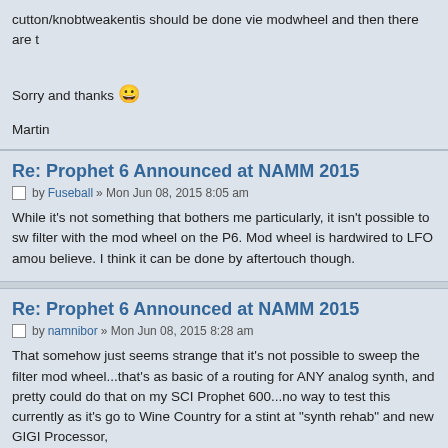cutton/knobtweakentis should be done vie modwheel and then there are t
Sorry and thanks 🙂
Martin
Re: Prophet 6 Announced at NAMM 2015
by Fuseball » Mon Jun 08, 2015 8:05 am
While it's not something that bothers me particularly, it isn't possible to sw filter with the mod wheel on the P6. Mod wheel is hardwired to LFO amou believe. I think it can be done by aftertouch though.
Re: Prophet 6 Announced at NAMM 2015
by namnibor » Mon Jun 08, 2015 8:28 am
That somehow just seems strange that it's not possible to sweep the filter mod wheel...that's as basic of a routing for ANY analog synth, and pretty could do that on my SCI Prophet 600...no way to test this currently as it's go to Wine Country for a stint at "synth rehab" and new GIGI Processor,
Maybe the P6 does not step if the LFO sweeps the filter? I am also thinki with the P6 being a no menu basic analog poly synth, that once it's shipp